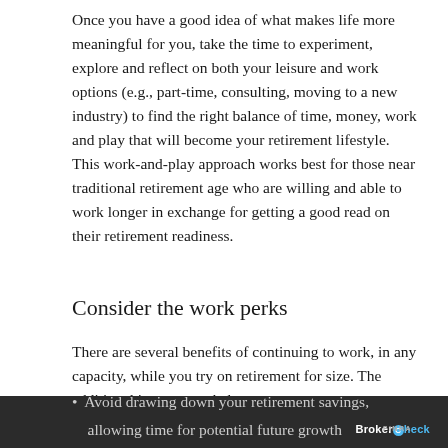Once you have a good idea of what makes life more meaningful for you, take the time to experiment, explore and reflect on both your leisure and work options (e.g., part-time, consulting, moving to a new industry) to find the right balance of time, money, work and play that will become your retirement lifestyle. This work-and-play approach works best for those near traditional retirement age who are willing and able to work longer in exchange for getting a good read on their retirement readiness.
Consider the work perks
There are several benefits of continuing to work, in any capacity, while you try on retirement for size. The additional income can help you:
Avoid drawing down your retirement savings,
allowing time for potential future growth
BrokerCheck FINRA